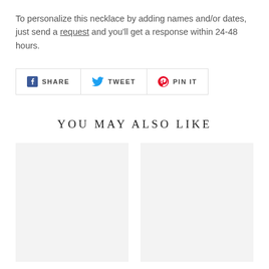To personalize this necklace by adding names and/or dates, just send a request and you'll get a response within 24-48 hours.
[Figure (infographic): Social share buttons: Facebook SHARE, Twitter TWEET, Pinterest PIN IT]
YOU MAY ALSO LIKE
[Figure (photo): Placeholder product image card (left), light gray background]
[Figure (photo): Placeholder product image card (right), light gray background]